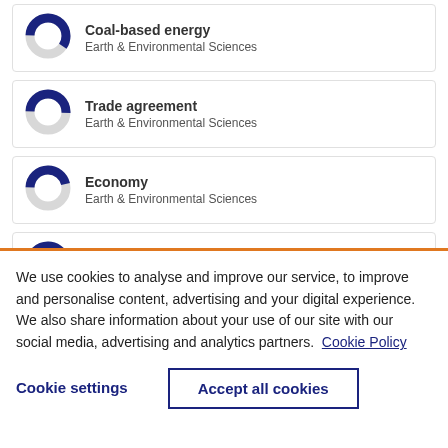[Figure (donut-chart): Donut chart for Coal-based energy, partially filled dark navy, Earth & Environmental Sciences]
Coal-based energy
Earth & Environmental Sciences
[Figure (donut-chart): Donut chart for Trade agreement, partially filled dark navy, Earth & Environmental Sciences]
Trade agreement
Earth & Environmental Sciences
[Figure (donut-chart): Donut chart for Economy, partially filled dark navy, Earth & Environmental Sciences]
Economy
Earth & Environmental Sciences
[Figure (donut-chart): Donut chart for Energy, partially filled dark navy, Earth & Environmental Sciences]
Energy
Earth & Environmental Sciences
We use cookies to analyse and improve our service, to improve and personalise content, advertising and your digital experience. We also share information about your use of our site with our social media, advertising and analytics partners.  Cookie Policy
Cookie settings
Accept all cookies